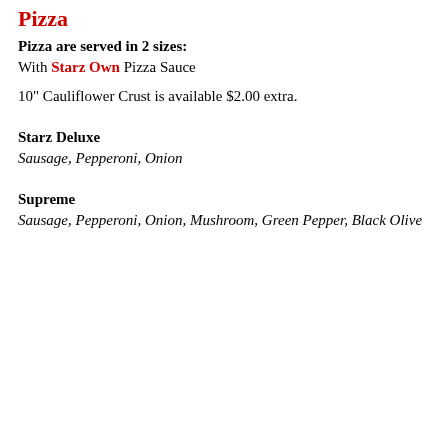Pizza
Pizza are served in 2 sizes:
With Starz Own Pizza Sauce
10" Cauliflower Crust is available $2.00 extra.
Starz Deluxe
Sausage, Pepperoni, Onion
Supreme
Sausage, Pepperoni, Onion, Mushroom, Green Pepper, Black Olive